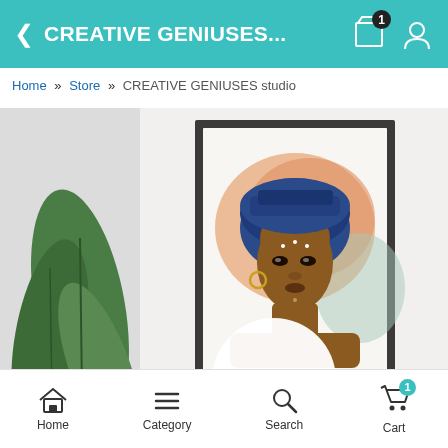CREATIVE GENIUSES...
Home » Store » CREATIVE GENIUSES studio
[Figure (photo): A framed artwork print showing a portrait of an African woman wearing a blue head wrap with gold jewelry and facial decorations, painted against an orange and mint watercolor background. The framed print is displayed against a light gray wall with a green plant visible on the left side. A large white circular play/zoom button overlay appears at the bottom center of the image.]
Home  Category  Search  Cart